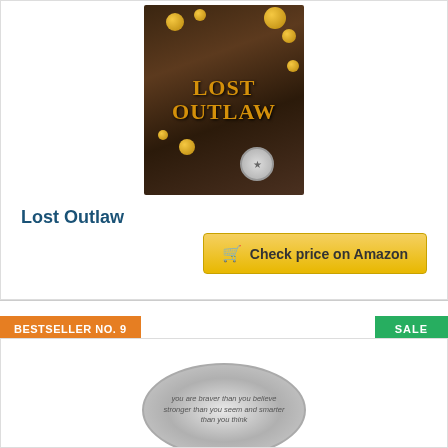[Figure (photo): Book cover for 'Lost Outlaw' showing gold coins and western sheriff star badge on dark soil background with orange/gold title text]
Lost Outlaw
[Figure (other): Yellow 'Check price on Amazon' button with shopping cart icon]
BESTSELLER NO. 9
SALE
[Figure (photo): Oval coin/charm with inspirational text: 'you are braver than you believe stronger than you seem and smarter than you think']